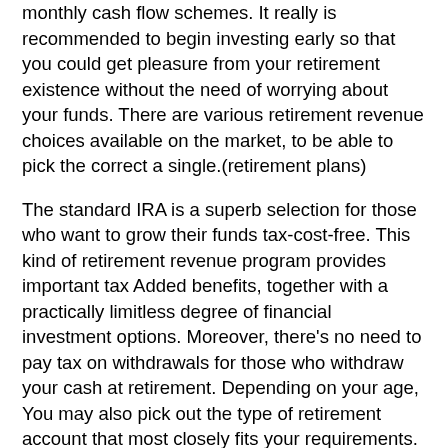monthly cash flow schemes. It really is recommended to begin investing early so that you could get pleasure from your retirement existence without the need of worrying about your funds. There are various retirement revenue choices available on the market, to be able to pick the correct a single.(retirement plans)
The standard IRA is a superb selection for those who want to grow their funds tax-cost-free. This kind of retirement revenue program provides important tax Added benefits, together with a practically limitless degree of financial investment options. Moreover, there’s no need to pay tax on withdrawals for those who withdraw your cash at retirement. Depending on your age, You may also pick out the type of retirement account that most closely fits your requirements. In case you have minimal funds, a income harmony plan may not be the proper option for you.(catch up contributions)(threat tolerance)(sufficient revenue)
Tax Implications